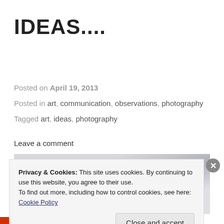IDEAS....
Posted on April 19, 2013
Posted in art, communication, observations, photography
Tagged art, ideas, photography
Leave a comment
[Figure (photo): Blurred grey background photo]
Privacy & Cookies: This site uses cookies. By continuing to use this website, you agree to their use. To find out more, including how to control cookies, see here: Cookie Policy
Close and accept